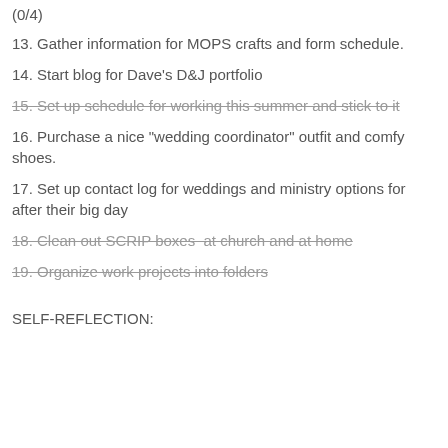(0/4)
13. Gather information for MOPS crafts and form schedule.
14. Start blog for Dave's D&J portfolio
15. Set up schedule for working this summer and stick to it
16. Purchase a nice "wedding coordinator" outfit and comfy shoes.
17. Set up contact log for weddings and ministry options for after their big day
18. Clean out SCRIP boxes  at church and at home
19. Organize work projects into folders
SELF-REFLECTION: